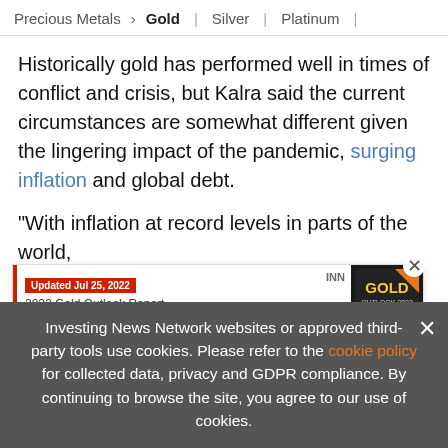Precious Metals > Gold | Silver | Platinum | ...
Historically gold has performed well in times of conflict and crisis, but Kalra said the current circumstances are somewhat different given the lingering impact of the pandemic, surging inflation and global debt.
“With inflation at record levels in parts of the world, we expect central banks to adopt a more hawki... stance ... headwinds for gold. Simultaneously, geopolitical...
[Figure (screenshot): Banner ad: INN 2022 Gold Outlook Report - TOP GOLD Stocks, Trends, Expert Forecasts. Updated Jul 25, 2022. Gold book cover image on right.]
Investing News Network websites or approved third-party tools use cookies. Please refer to the cookie policy for collected data, privacy and GDPR compliance. By continuing to browse the site, you agree to our use of cookies.